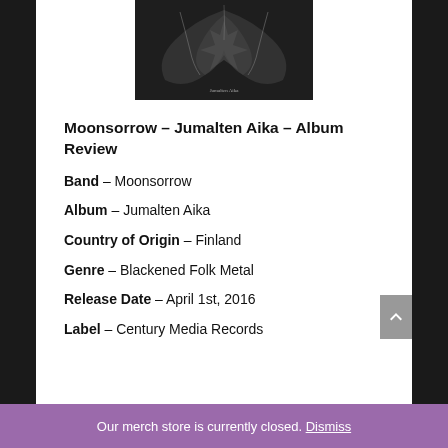[Figure (photo): Album cover for Moonsorrow – Jumalten Aika, dark monochrome image with organic/root-like design and text]
Moonsorrow – Jumalten Aika – Album Review
Band – Moonsorrow
Album – Jumalten Aika
Country of Origin – Finland
Genre – Blackened Folk Metal
Release Date – April 1st, 2016
Label – Century Media Records
Our merch store is currently closed. Dismiss